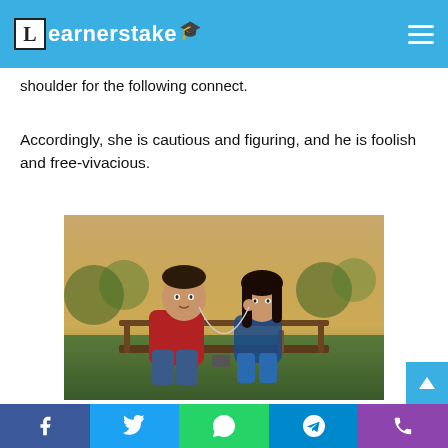Learnerstake
shoulder for the following connect.
Accordingly, she is cautious and figuring, and he is foolish and free-vivacious.
[Figure (photo): A young man in a red hoodie and a young woman in a blue outfit sitting on a park bench, sharing earphones, with a blurred outdoor background.]
This is the means by which characters were outlined during the 90s. This annoyed me (not
Facebook | Twitter | WhatsApp | Telegram | Phone